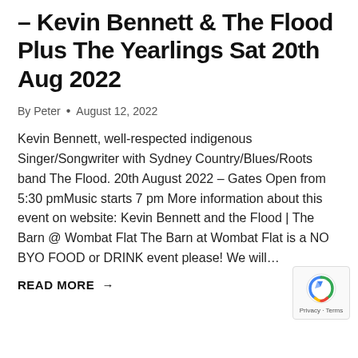- Kevin Bennett & The Flood Plus The Yearlings Sat 20th Aug 2022
By Peter • August 12, 2022
Kevin Bennett, well-respected indigenous Singer/Songwriter with Sydney Country/Blues/Roots band The Flood. 20th August 2022 – Gates Open from 5:30 pmMusic starts 7 pm More information about this event on website: Kevin Bennett and the Flood | The Barn @ Wombat Flat The Barn at Wombat Flat is a NO BYO FOOD or DRINK event please! We will…
READ MORE →